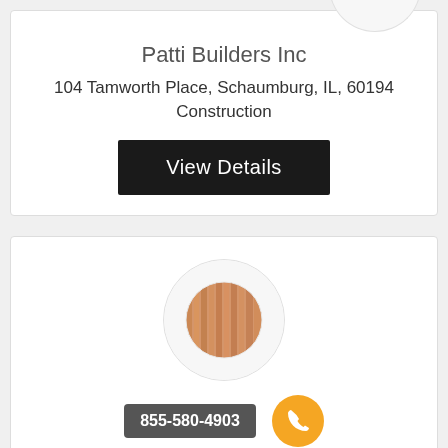[Figure (logo): Partial circular logo placeholder for Patti Builders Inc]
Patti Builders Inc
104 Tamworth Place, Schaumburg, IL, 60194
Construction
View Details
[Figure (logo): Circular logo with wood texture image for Tabert Enterprises Inc]
855-580-4903
Tabert Enterprises Inc